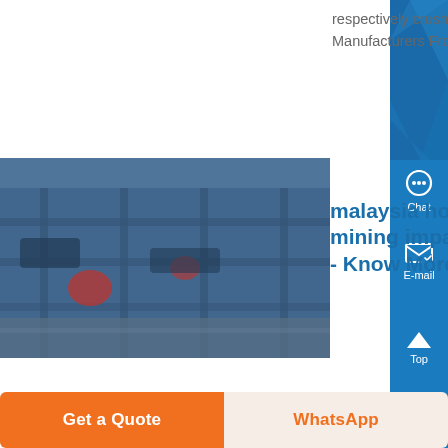respectively crush,Crusher Manufacturers From Malaysia...
[Figure (photo): Mining equipment / industrial crusher machinery viewed from above]
malaysia hot sale mining impact crusher - Know More
impact crusher malaysia BSDC Jaipur Calling for Symfony Papers Symfony Blog Oct 6, 2014 Crusher For Sale,jaw crusher,impact crusher,cone crusher Malaysia Impact Crusher Used Hammermill In Malaysia jow crusher hammer mill in china, YouTube May 6, 2015 More Ore Crusher 5/5 suppliers of used mining equipment in malaysia Gold